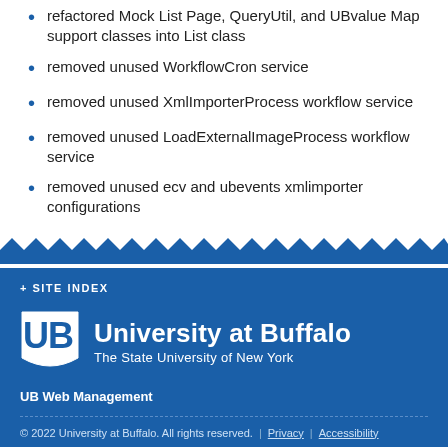refactored Mock List Page, QueryUtil, and UBvalue Map support classes into List class
removed unused WorkflowCron service
removed unused XmlImporterProcess workflow service
removed unused LoadExternalImageProcess workflow service
removed unused ecv and ubevents xmlimporter configurations
+ SITE INDEX
[Figure (logo): UB shield logo with University at Buffalo, The State University of New York]
UB Web Management
© 2022 University at Buffalo. All rights reserved. | Privacy | Accessibility